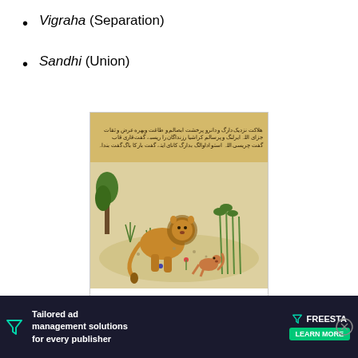Vigraha (Separation)
Sandhi (Union)
[Figure (illustration): A page from Kelileh va Demneh dated 1429, from Herat, a Persian translation of the Panchatantra derived from the manipulative jackal vizier, Dimna, trying to lead his own...]
A page from Kelileh va Demneh dated 1429, from Herat, a Persian translation of
the Panchatantra derived from the manipulative jackal vizier, Dimna, trying to lead his om...